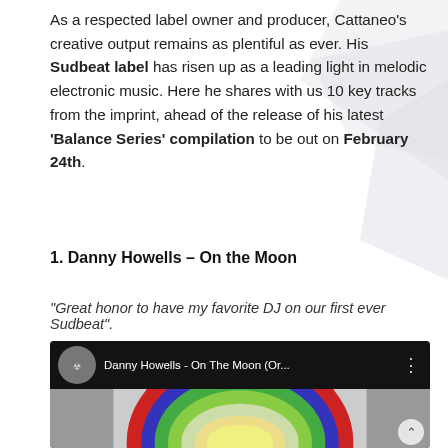As a respected label owner and producer, Cattaneo's creative output remains as plentiful as ever. His Sudbeat label has risen up as a leading light in melodic electronic music. Here he shares with us 10 key tracks from the imprint, ahead of the release of his latest 'Balance Series' compilation to be out on February 24th.
1. Danny Howells – On the Moon
“Great honor to have my favorite DJ on our first ever Sudbeat”.
[Figure (screenshot): YouTube video embed showing Danny Howells - On The Moon (Or... with colorful circular album art on dark background]